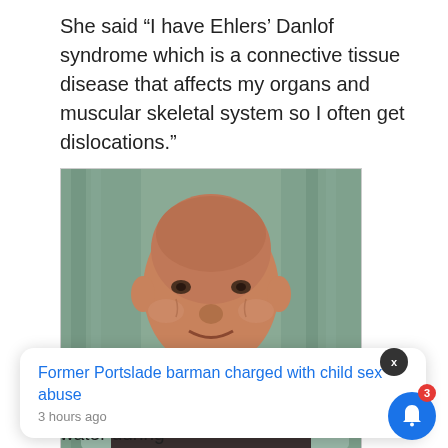She said “I have Ehlers’ Danlof syndrome which is a connective tissue disease that affects my organs and muscular skeletal system so I often get dislocations.”
[Figure (photo): Photograph of a middle-aged bald man seated on a couch, wearing a dark shirt, with green curtains in the background. The image is shown in a bordered frame.]
Former Portslade barman charged with child sex abuse
3 hours ago
art from extensive bruising. She swallowed a lot of water during